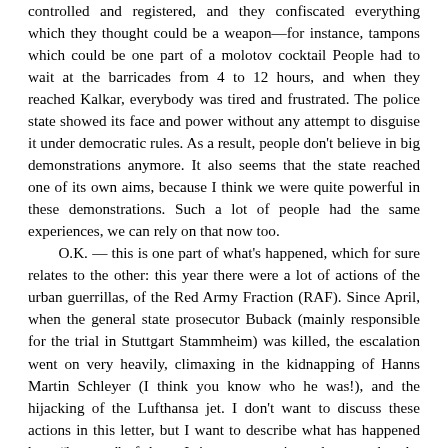controlled and registered, and they confiscated everything which they thought could be a weapon—for instance, tampons which could be one part of a molotov cocktail People had to wait at the barricades from 4 to 12 hours, and when they reached Kalkar, everybody was tired and frustrated. The police state showed its face and power without any attempt to disguise it under democratic rules. As a result, people don't believe in big demonstrations anymore. It also seems that the state reached one of its own aims, because I think we were quite powerful in these demonstrations. Such a lot of people had the same experiences, we can rely on that now too.
    O.K. — this is one part of what's happened, which for sure relates to the other: this year there were a lot of actions of the urban guerrillas, of the Red Army Fraction (RAF). Since April, when the general state prosecutor Buback (mainly responsible for the trial in Stuttgart Stammheim) was killed, the escalation went on very heavily, climaxing in the kidnapping of Hanns Martin Schleyer (I think you know who he was!), and the hijacking of the Lufthansa jet. I don't want to discuss these actions in this letter, but I want to describe what has happened here "because" of them. It is not overestimated to say that the whole country was and partly still is in hysteria and panic, and that this is also